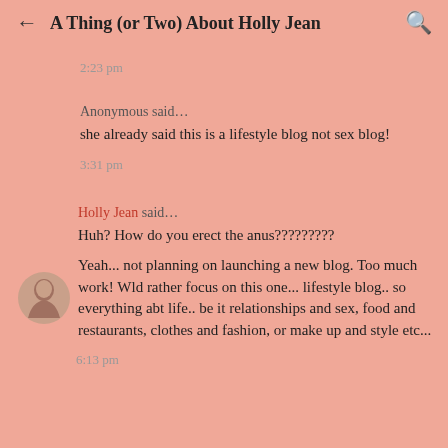← A Thing (or Two) About Holly Jean 🔍
2:23 pm
Anonymous said… she already said this is a lifestyle blog not sex blog!
3:31 pm
Holly Jean said… Huh? How do you erect the anus????????? Yeah... not planning on launching a new blog. Too much work! Wld rather focus on this one... lifestyle blog.. so everything abt life.. be it relationships and sex, food and restaurants, clothes and fashion, or make up and style etc...
6:13 pm